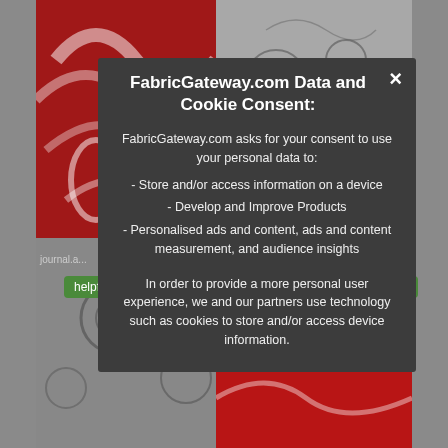[Figure (screenshot): Background webpage showing fabric images (red floral top-left, grey floral top-right, grey bottom-left, red bottom-right) with partially visible URL labels and green 'helpful' buttons]
FabricGateway.com Data and Cookie Consent:
FabricGateway.com asks for your consent to use your personal data to:
- Store and/or access information on a device
- Develop and Improve Products
- Personalised ads and content, ads and content measurement, and audience insights
In order to provide a more personal user experience, we and our partners use technology such as cookies to store and/or access device information.